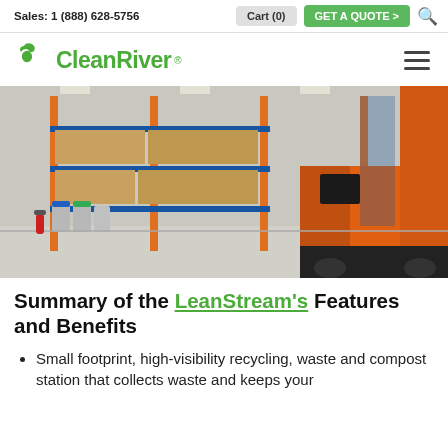Sales: 1 (888) 628-5756  Cart (0)  GET A QUOTE >
[Figure (logo): CleanRiver logo with green bird icon and green text]
[Figure (photo): Warehouse interior with orange shelving racks, cardboard boxes on pallets, grey recycling/waste bins with blue and green lids, and an orange forklift in the foreground]
Summary of the LeanStream's Features and Benefits
Small footprint, high-visibility recycling, waste and compost station that collects waste and keeps your